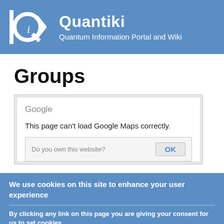Quantiki — Quantum Information Portal and Wiki
Groups
[Figure (screenshot): Google Maps error dialog: 'This page can't load Google Maps correctly.' with 'Do you own this website?' prompt and OK button]
We use cookies on this site to enhance your user experience
By clicking any link on this page you are giving your consent for us to set cookies.
No, give me more info